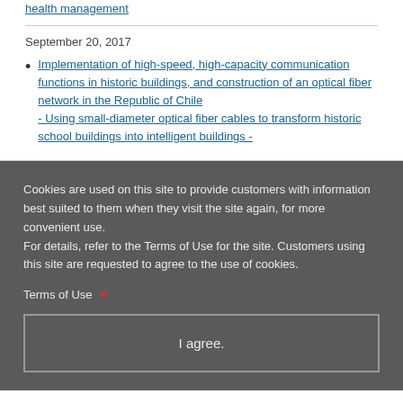health management
September 20, 2017
Implementation of high-speed, high-capacity communication functions in historic buildings, and construction of an optical fiber network in the Republic of Chile - Using small-diameter optical fiber cables to transform historic school buildings into intelligent buildings -
Cookies are used on this site to provide customers with information best suited to them when they visit the site again, for more convenient use.
For details, refer to the Terms of Use for the site. Customers using this site are requested to agree to the use of cookies.
Terms of Use
I agree.